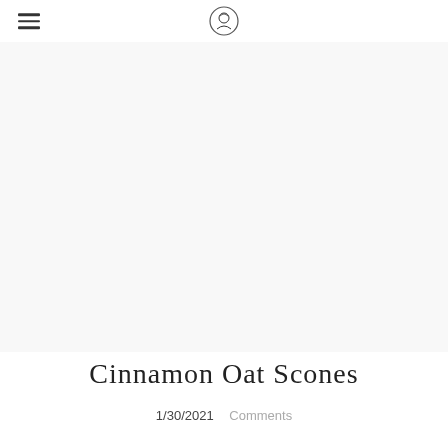Cinnamon Oat Scones blog page header with hamburger menu and logo
[Figure (photo): Large white/blank image area representing a food photo placeholder for cinnamon oat scones]
Cinnamon Oat Scones
1/30/2021   Comments